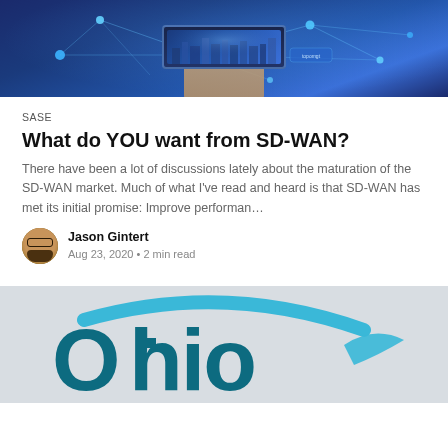[Figure (photo): Hero image: Hand holding a tablet with a glowing city and network nodes on blue background]
SASE
What do YOU want from SD-WAN?
There have been a lot of discussions lately about the maturation of the SD-WAN market. Much of what I've read and heard is that SD-WAN has met its initial promise: Improve performan…
Jason Gintert
Aug 23, 2020 • 2 min read
[Figure (logo): Ohio logo on grey background — teal/blue Ohio wordmark with swoosh]